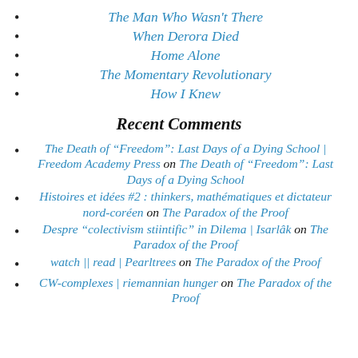The Man Who Wasn't There
When Derora Died
Home Alone
The Momentary Revolutionary
How I Knew
Recent Comments
The Death of “Freedom”: Last Days of a Dying School | Freedom Academy Press on The Death of “Freedom”: Last Days of a Dying School
Histoires et idées #2 : thinkers, mathématiques et dictateur nord-coréen on The Paradox of the Proof
Despre “colectivism stiintific” in Dilema | Isarlâk on The Paradox of the Proof
watch || read | Pearltrees on The Paradox of the Proof
CW-complexes | riemannian hunger on The Paradox of the Proof